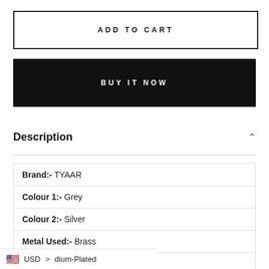ADD TO CART
BUY IT NOW
Description
| Brand:- TYAAR |
| Colour 1:- Grey |
| Colour 2:- Silver |
| Metal Used:- Brass |
| Gemstone:- Kundan |
USD > dium-Plated